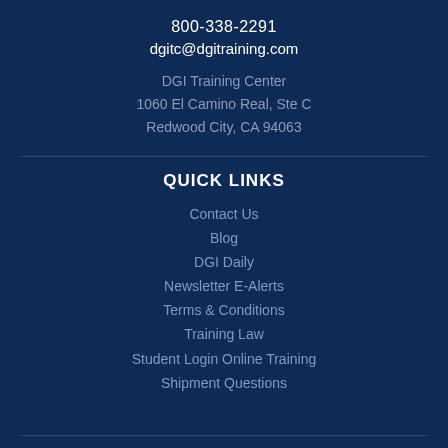800-338-2291
dgitc@dgitraining.com
DGI Training Center
1060 El Camino Real, Ste C
Redwood City, CA 94063
QUICK LINKS
Contact Us
Blog
DGI Daily
Newsletter E-Alerts
Terms & Conditions
Training Law
Student Login Online Training
Shipment Questions